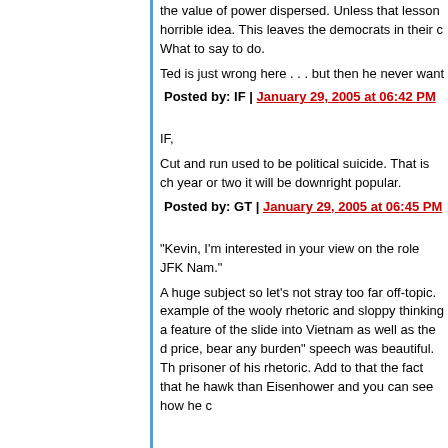the value of power dispersed. Unless that lesson horrible idea. This leaves the democrats in their c What to say to do.
Ted is just wrong here . . . but then he never want
Posted by: IF | January 29, 2005 at 06:42 PM
IF,
Cut and run used to be political suicide. That is ch year or two it will be downright popular.
Posted by: GT | January 29, 2005 at 06:45 PM
"Kevin, I'm interested in your view on the role JFK Nam."
A huge subject so let's not stray too far off-topic. example of the wooly rhetoric and sloppy thinking a feature of the slide into Vietnam as well as the d price, bear any burden" speech was beautiful. Th prisoner of his rhetoric. Add to that the fact that he hawk than Eisenhower and you can see how he c